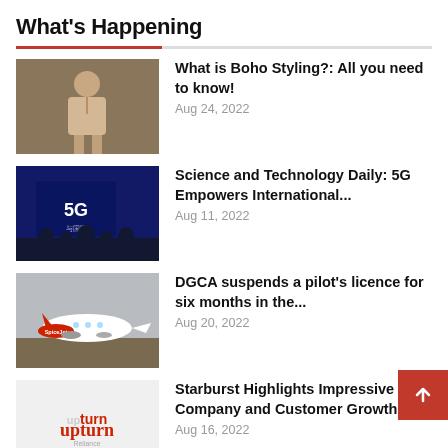What's Happening
What is Boho Styling?: All you need to know! — Aug 24, 2022
Science and Technology Daily: 5G Empowers International... — Aug 11, 2022
DGCA suspends a pilot's licence for six months in the... — Aug 20, 2022
Starburst Highlights Impressive Company and Customer Growth,... — Aug 16, 2022
Shares of Reliance Industries are now trading ex-dividend — Aug 18, 2022